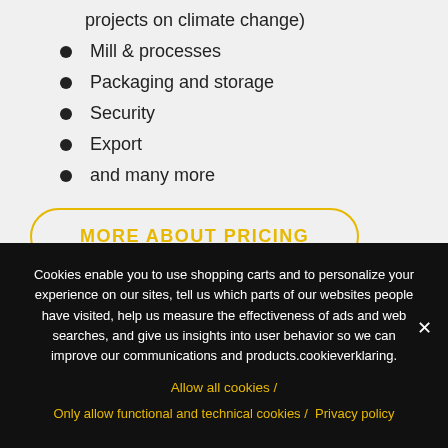projects on climate change)
Mill & processes
Packaging and storage
Security
Export
and many more
MORE ABOUT PRICING
Cookies enable you to use shopping carts and to personalize your experience on our sites, tell us which parts of our websites people have visited, help us measure the effectiveness of ads and web searches, and give us insights into user behavior so we can improve our communications and products.cookieverklaring.
Allow all cookies /
Only allow functional and technical cookies /  Privacy policy